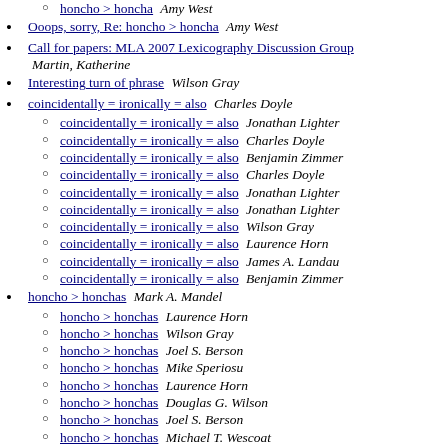honcho > honcha  Amy West (sub-item)
Ooops, sorry, Re: honcho > honcha  Amy West
Call for papers: MLA 2007 Lexicography Discussion Group  Martin, Katherine
Interesting turn of phrase  Wilson Gray
coincidentally = ironically = also  Charles Doyle
coincidentally = ironically = also  Jonathan Lighter (sub)
coincidentally = ironically = also  Charles Doyle (sub)
coincidentally = ironically = also  Benjamin Zimmer (sub)
coincidentally = ironically = also  Charles Doyle (sub)
coincidentally = ironically = also  Jonathan Lighter (sub)
coincidentally = ironically = also  Jonathan Lighter (sub)
coincidentally = ironically = also  Wilson Gray (sub)
coincidentally = ironically = also  Laurence Horn (sub)
coincidentally = ironically = also  James A. Landau (sub)
coincidentally = ironically = also  Benjamin Zimmer (sub)
honcho > honchas  Mark A. Mandel
honcho > honchas  Laurence Horn (sub)
honcho > honchas  Wilson Gray (sub)
honcho > honchas  Joel S. Berson (sub)
honcho > honchas  Mike Speriosu (sub)
honcho > honchas  Laurence Horn (sub)
honcho > honchas  Douglas G. Wilson (sub)
honcho > honchas  Joel S. Berson (sub)
honcho > honchas  Michael T. Wescoat (sub)